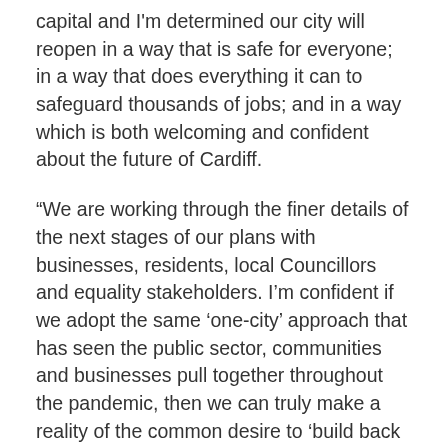capital and I'm determined our city will reopen in a way that is safe for everyone; in a way that does everything it can to safeguard thousands of jobs; and in a way which is both welcoming and confident about the future of Cardiff.
“We are working through the finer details of the next stages of our plans with businesses, residents, local Councillors and equality stakeholders. I’m confident if we adopt the same ‘one-city’ approach that has seen the public sector, communities and businesses pull together throughout the pandemic, then we can truly make a reality of the common desire to ‘build back better’.
“I’m especially excited about our proposals to